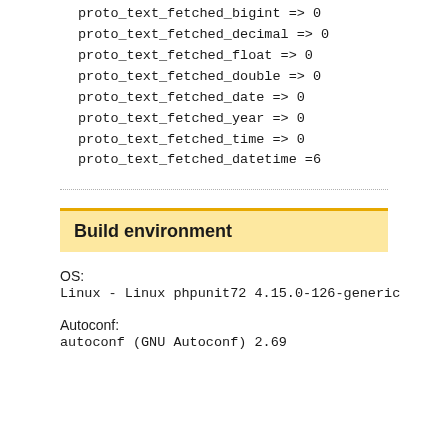proto_text_fetched_bigint => 0
proto_text_fetched_decimal => 0
proto_text_fetched_float => 0
proto_text_fetched_double => 0
proto_text_fetched_date => 0
proto_text_fetched_year => 0
proto_text_fetched_time => 0
proto_text_fetched_datetime =6
Build environment
OS:
Linux - Linux phpunit72 4.15.0-126-generic
Autoconf:
autoconf (GNU Autoconf) 2.69